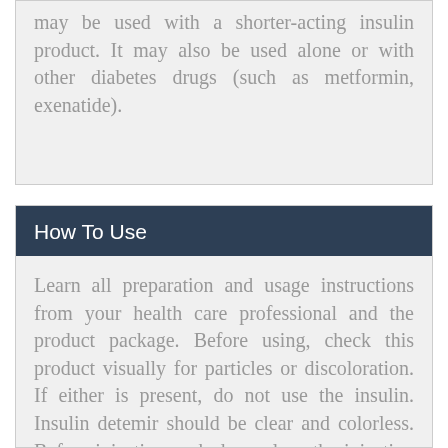may be used with a shorter-acting insulin product. It may also be used alone or with other diabetes drugs (such as metformin, exenatide).
How To Use
Learn all preparation and usage instructions from your health care professional and the product package. Before using, check this product visually for particles or discoloration. If either is present, do not use the insulin. Insulin detemir should be clear and colorless. Before injecting each dose, clean the injection site with rubbing alcohol. Change the injection site each time to lessen injury